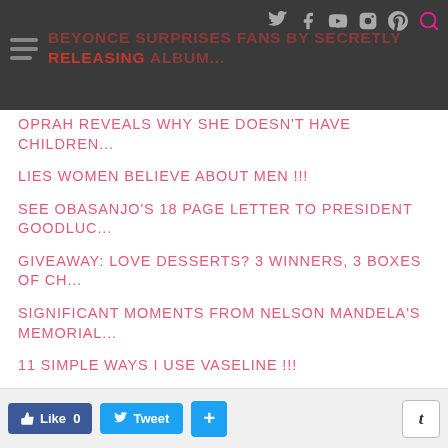BEYONCE SURPRISES FANS BY SECRETLY RELEASING ALBUM...
OPRAH REVEALS WHY SHE DOESN'T HAVE CHILDREN...
LIES WOMEN BELIEVE ABOUT MEN !!!
SEE OBASANJO'S 18 PAGE LETTER TO PRESIDENT GOODLUC...
GIVEAWAY: LOVE DESSERTS? 3 WINNERS, 3 BOXES OF CH...
SIGNIFICANT MOMENTS FROM NELSON MANDELA'S MEMORIAL...
11 SIMPLE WAYS I USE VASELINE !!!
MONDAY CHIT-CHAT: WEDDINGS, BIRTHDAYS AND EMPOWERM...
DONATION DRIVE FOR DECEMBER:...
Like 0  Tweet  +  t